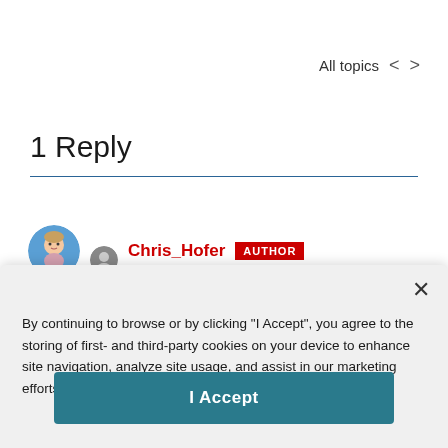All topics < >
1 Reply
Chris_Hofer AUTHOR
By continuing to browse or by clicking "I Accept", you agree to the storing of first- and third-party cookies on your device to enhance site navigation, analyze site usage, and assist in our marketing efforts. Privacy Policy.
I Accept